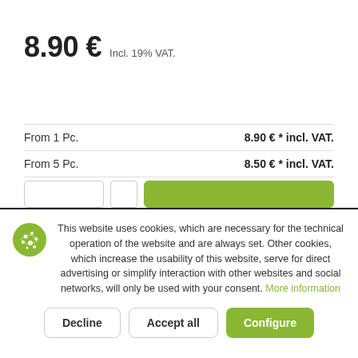8.90 € Incl. 19% VAT.
| Quantity | Price |
| --- | --- |
| From 1 Pc. | 8.90 € * incl. VAT. |
| From 5 Pc. | 8.50 € * incl. VAT. |
| From 10 Pc. | 7.90 € * incl. VAT. |
This website uses cookies, which are necessary for the technical operation of the website and are always set. Other cookies, which increase the usability of this website, serve for direct advertising or simplify interaction with other websites and social networks, will only be used with your consent. More information
Decline
Accept all
Configure